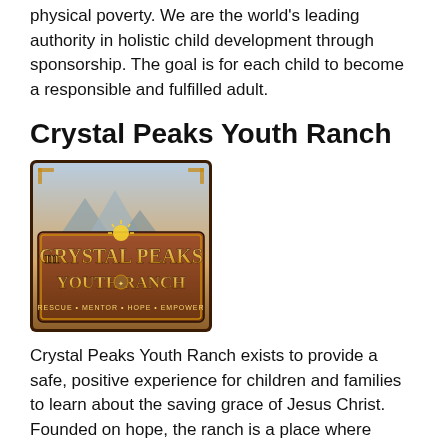physical poverty. We are the world's leading authority in holistic child development through sponsorship. The goal is for each child to become a responsible and fulfilled adult.
Crystal Peaks Youth Ranch
[Figure (logo): Crystal Peaks Youth Ranch logo — ornate western-style sign with mountain background, golden lettering reading 'Crystal Peaks Youth Ranch' and tagline 'Rescue • Mentor • Hope • Empower']
Crystal Peaks Youth Ranch exists to provide a safe, positive experience for children and families to learn about the saving grace of Jesus Christ. Founded on hope, the ranch is a place where broken children, horses, and families can choose to embrace wholeness. This richness is secured within the healing embrace of God's all consuming love.